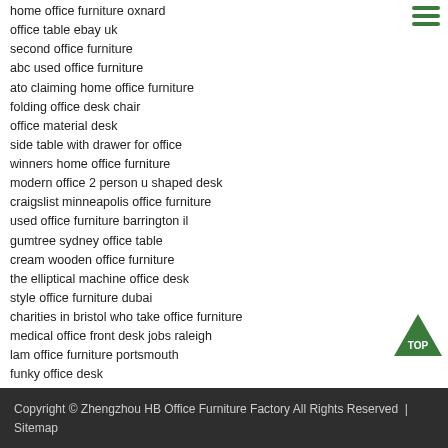home office furniture oxnard
office table ebay uk
second office furniture
abc used office furniture
ato claiming home office furniture
folding office desk chair
office material desk
side table with drawer for office
winners home office furniture
modern office 2 person u shaped desk
craigslist minneapolis office furniture
used office furniture barrington il
gumtree sydney office table
cream wooden office furniture
the elliptical machine office desk
style office furniture dubai
charities in bristol who take office furniture
medical office front desk jobs raleigh
lam office furniture portsmouth
funky office desk
wood and glass desk home office
ikea office desk with top
sitemap
[Figure (illustration): Green triangle 'TOP' back-to-top button in bottom right corner]
Copyright © Zhengzhou HB Office Furniture Factory All Rights Reserved  | Sitemap